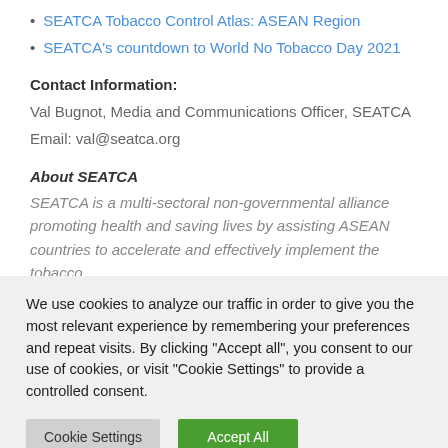SEATCA Tobacco Control Atlas: ASEAN Region
SEATCA's countdown to World No Tobacco Day 2021
Contact Information:
Val Bugnot, Media and Communications Officer, SEATCA
Email: val@seatca.org
About SEATCA
SEATCA is a multi-sectoral non-governmental alliance promoting health and saving lives by assisting ASEAN countries to accelerate and effectively implement the tobacco
We use cookies to analyze our traffic in order to give you the most relevant experience by remembering your preferences and repeat visits. By clicking "Accept all", you consent to our use of cookies, or visit "Cookie Settings" to provide a controlled consent.
Cookie Settings
Accept All